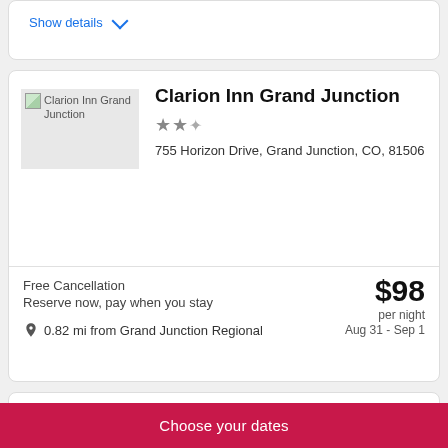Show details
Clarion Inn Grand Junction
★★☆
755 Horizon Drive, Grand Junction, CO, 81506
Free Cancellation
Reserve now, pay when you stay
0.82 mi from Grand Junction Regional
$98 per night Aug 31 - Sep 1
Show details
Choose your dates